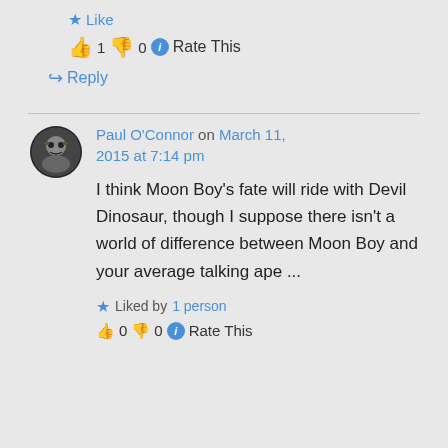★ Like
👍 1 👎 0 ℹ Rate This
↪ Reply
Paul O'Connor on March 11, 2015 at 7:14 pm
I think Moon Boy's fate will ride with Devil Dinosaur, though I suppose there isn't a world of difference between Moon Boy and your average talking ape ...
★ Liked by 1 person
👍 0 👎 0 ℹ Rate This